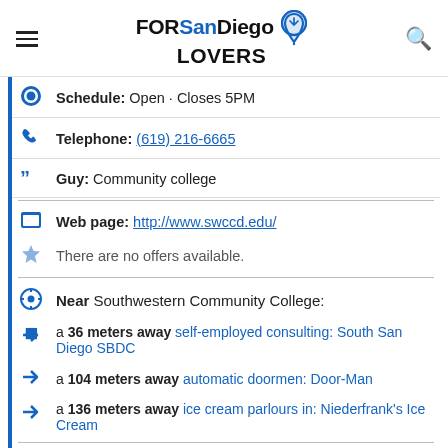FORSanDiego LOVERS
Schedule: Open · Closes 5PM
Telephone: (619) 216-6665
Guy: Community college
Web page: http://www.swccd.edu/
There are no offers available.
Near Southwestern Community College:
a 36 meters away self-employed consulting: South San Diego SBDC
a 104 meters away automatic doormen: Door-Man
a 136 meters away ice cream parlours in: Niederfrank's Ice Cream
Are you the owner of the business? PROMOTE